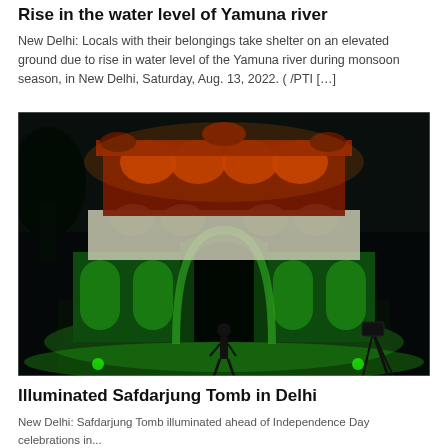Rise in the water level of Yamuna river
New Delhi: Locals with their belongings take shelter on an elevated ground due to rise in water level of the Yamuna river during monsoon season, in New Delhi, Saturday, Aug. 13, 2022. (/PTI […]
[Figure (photo): Safdarjung Tomb illuminated at night with orange, white, and green lights (Indian tricolor) for Independence Day celebrations in New Delhi]
Illuminated Safdarjung Tomb in Delhi
New Delhi: Safdarjung Tomb illuminated ahead of Independence Day celebrations in...